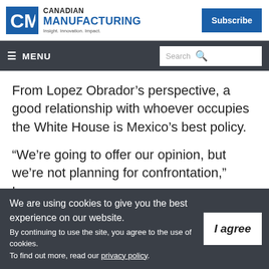Canadian Manufacturing — Insight. Innovation. Impact.
From Lopez Obrador’s perspective, a good relationship with whoever occupies the White House is Mexico’s best policy.
“We’re going to offer our opinion, but we’re not planning for confrontation,” Lopez
We are using cookies to give you the best experience on our website.
By continuing to use the site, you agree to the use of cookies.
To find out more, read our privacy policy.